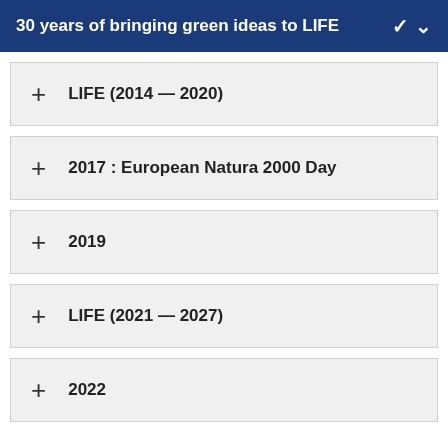30 years of bringing green ideas to LIFE
LIFE (2014 — 2020)
2017 : European Natura 2000 Day
2019
LIFE (2021 — 2027)
2022
Before LIFE
During the late 1980s, public consciousness about